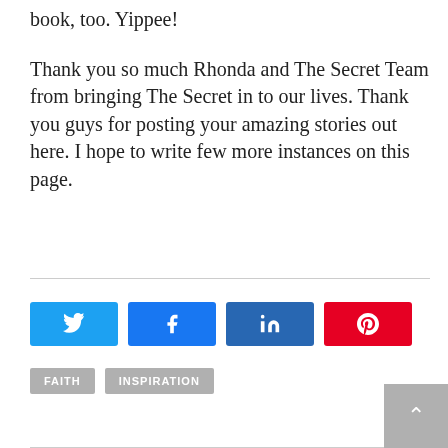book, too. Yippee!
Thank you so much Rhonda and The Secret Team from bringing The Secret in to our lives. Thank you guys for posting your amazing stories out here. I hope to write few more instances on this page.
[Figure (other): Social share buttons: Twitter (blue), Facebook (blue), LinkedIn (dark blue), Pinterest (red)]
FAITH
INSPIRATION